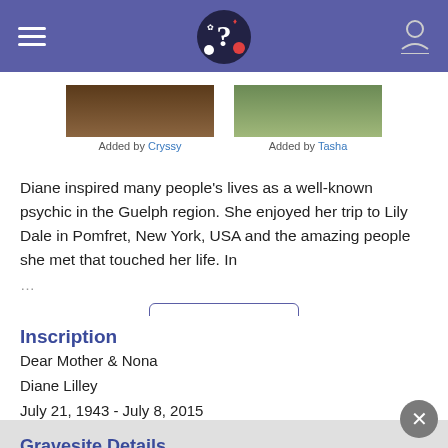Header navigation bar with hamburger menu, logo, and user icon
[Figure (photo): Two photo thumbnails side by side - left photo attributed to Cryssy, right photo attributed to Tasha]
Added by Cryssy
Added by Tasha
Diane inspired many people's lives as a well-known psychic in the Guelph region. She enjoyed her trip to Lily Dale in Pomfret, New York, USA and the amazing people she met that touched her life. In ...
Read More
Inscription
Dear Mother & Nona
Diane Lilley
July 21, 1943 - July 8, 2015
Gravesite Details